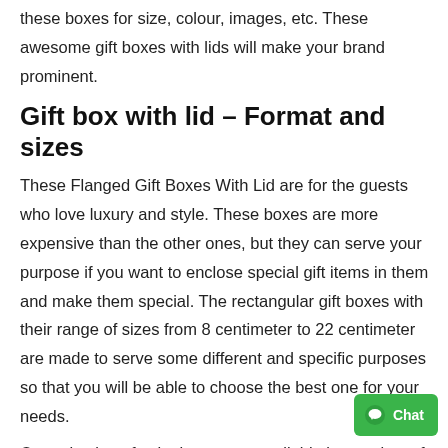these boxes for size, colour, images, etc. These awesome gift boxes with lids will make your brand prominent.
Gift box with lid – Format and sizes
These Flanged Gift Boxes With Lid are for the guests who love luxury and style. These boxes are more expensive than the other ones, but they can serve your purpose if you want to enclose special gift items in them and make them special. The rectangular gift boxes with their range of sizes from 8 centimeter to 22 centimeter are made to serve some different and specific purposes so that you will be able to choose the best one for your needs.
Our selection of cake boxes are available in a variety of sizes and shapes. The most popular range is from 8cm to 22cm, which consists of 10 different size boxes and can also be created in custom sizes. Flanged Gift Boxes With Lid come in the same range and for gift boxes, we have a slightly different range from 1… 36cm or you can even specify your custom size.